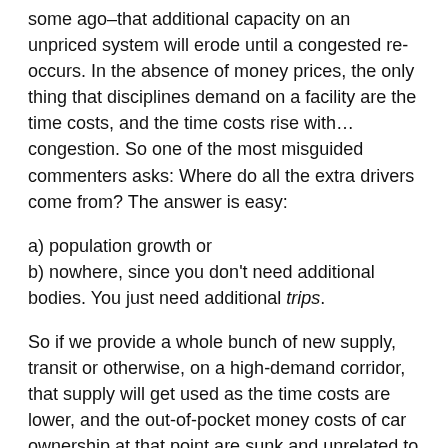some ago–that additional capacity on an unpriced system will erode until a congested re-occurs. In the absence of money prices, the only thing that disciplines demand on a facility are the time costs, and the time costs rise with…congestion. So one of the most misguided commenters asks: Where do all the extra drivers come from? The answer is easy:
a) population growth or
b) nowhere, since you don't need additional bodies. You just need additional trips.
So if we provide a whole bunch of new supply, transit or otherwise, on a high-demand corridor, that supply will get used as the time costs are lower, and the out-of-pocket money costs of car ownership at that point are sunk and unrelated to trip time of day–until